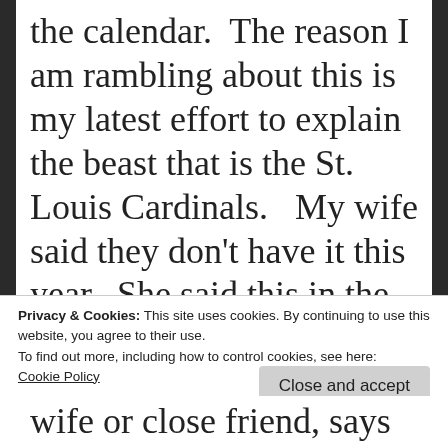the calendar.  The reason I am rambling about this is my latest effort to explain the beast that is the St. Louis Cardinals.   My wife said they don't have it this year.  She said this in the middle of Monday's horrible defeat in San Diego.  I didn't go as far as disagreeing with her, but I had to
Privacy & Cookies: This site uses cookies. By continuing to use this website, you agree to their use.
To find out more, including how to control cookies, see here: Cookie Policy
Close and accept
wife or close friend, says these